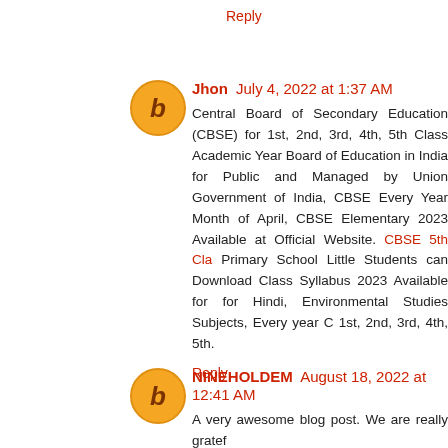Reply
Jhon July 4, 2022 at 1:37 AM
Central Board of Secondary Education (CBSE) for 1st, 2nd, 3rd, 4th, 5th Class Academic Year Board of Education in India for Public and Managed by Union Government of India, CBSE Every Year Month of April, CBSE Elementary 2023 Available at Official Website. CBSE 5th Cla Primary School Little Students can Download Class Syllabus 2023 Available for for Hindi, Environmental Studies Subjects, Every year C 1st, 2nd, 3rd, 4th, 5th.
Reply
NINEHOLDEM August 18, 2022 at 12:41 AM
A very awesome blog post. We are really gratef